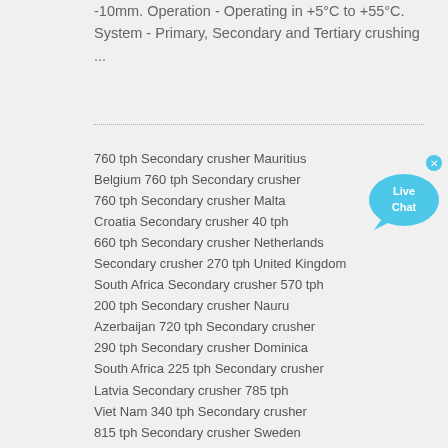-10mm. Operation - Operating in +5°C to +55°C. System - Primary, Secondary and Tertiary crushing ...
760 tph Secondary crusher Mauritius
Belgium 760 tph Secondary crusher
760 tph Secondary crusher Malta
Croatia Secondary crusher 40 tph
660 tph Secondary crusher Netherlands
Secondary crusher 270 tph United Kingdom
South Africa Secondary crusher 570 tph
200 tph Secondary crusher Nauru
Azerbaijan 720 tph Secondary crusher
290 tph Secondary crusher Dominica
South Africa 225 tph Secondary crusher
Latvia Secondary crusher 785 tph
Viet Nam 340 tph Secondary crusher
815 tph Secondary crusher Sweden